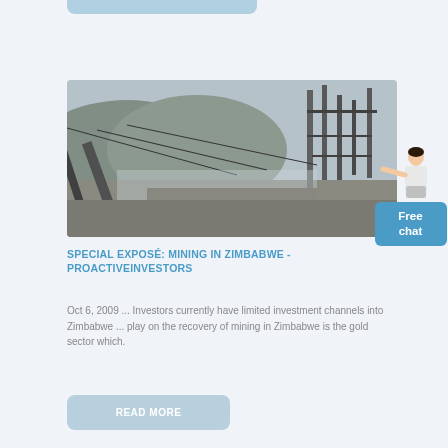[Figure (photo): Outdoor mining facility scene with conveyor belts, scaffolding structures, and misty/foggy industrial landscape with forested hills in background. Black and white / desaturated photo.]
SPECIAL EXPOSÉ: MINING IN ZIMBABWE - PROACTIVEINVESTORS
Oct 6, 2009 ... Investors currently have limited investment channels into Zimbabwe ... play on the recovery of mining in Zimbabwe is the gold sector which.
READ MORE